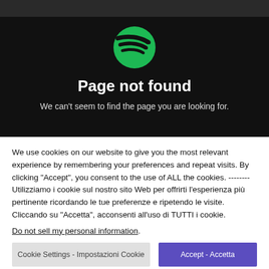[Figure (logo): Spotify logo – green circle with three black curved lines representing sound waves]
Page not found
We can't seem to find the page you are looking for.
We use cookies on our website to give you the most relevant experience by remembering your preferences and repeat visits. By clicking "Accept", you consent to the use of ALL the cookies. -------- Utilizziamo i cookie sul nostro sito Web per offrirti l'esperienza più pertinente ricordando le tue preferenze e ripetendo le visite. Cliccando su "Accetta", acconsenti all'uso di TUTTI i cookie.
Do not sell my personal information.